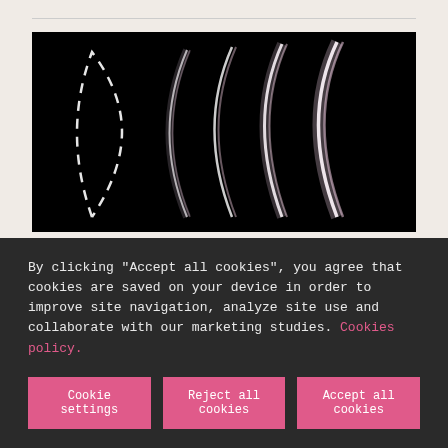[Figure (photo): Dark black background with abstract light streaks forming arch/loop shapes — one white dashed arc outline on the left, and several bright metallic curved arcs to the right, resembling motion or light trails]
Understanding human trafficking is fighting against it
By clicking "Accept all cookies", you agree that cookies are saved on your device in order to improve site navigation, analyze site use and collaborate with our marketing studies. Cookies policy.